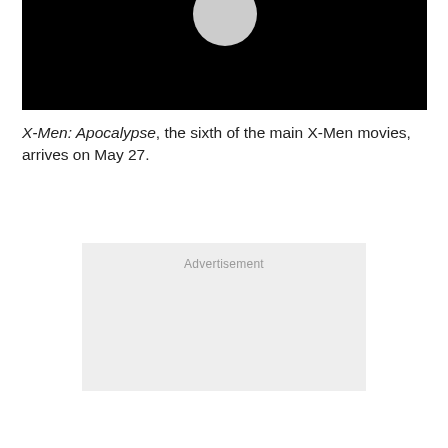[Figure (photo): Dark/black image with a light gray circular shape visible at the top center, partially cut off at the top of the page.]
X-Men: Apocalypse, the sixth of the main X-Men movies, arrives on May 27.
[Figure (other): Advertisement placeholder box with light gray background and the text 'Advertisement' centered near the top.]